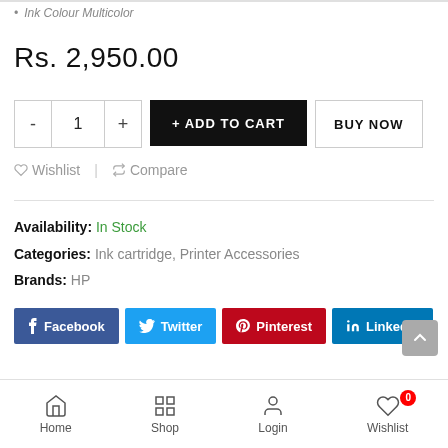Ink Colour Multicolor
Rs. 2,950.00
+ ADD TO CART   BUY NOW
Wishlist   Compare
Availability: In Stock
Categories: Ink cartridge, Printer Accessories
Brands: HP
[Figure (other): Social share buttons: Facebook, Twitter, Pinterest, LinkedIn]
DESCRIPTION / REVIEWS (0)
Home  Shop  Login  Wishlist